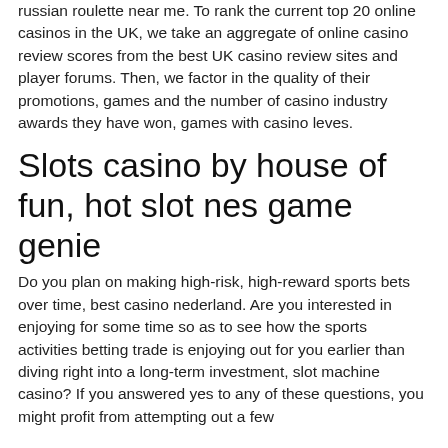russian roulette near me. To rank the current top 20 online casinos in the UK, we take an aggregate of online casino review scores from the best UK casino review sites and player forums. Then, we factor in the quality of their promotions, games and the number of casino industry awards they have won, games with casino leves.
Slots casino by house of fun, hot slot nes game genie
Do you plan on making high-risk, high-reward sports bets over time, best casino nederland. Are you interested in enjoying for some time so as to see how the sports activities betting trade is enjoying out for you earlier than diving right into a long-term investment, slot machine casino? If you answered yes to any of these questions, you might profit from attempting out a few